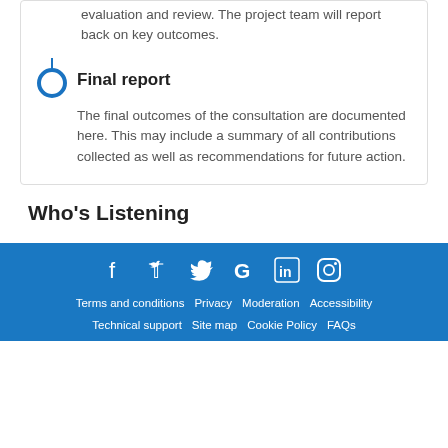evaluation and review. The project team will report back on key outcomes.
Final report
The final outcomes of the consultation are documented here. This may include a summary of all contributions collected as well as recommendations for future action.
Who's Listening
[Figure (infographic): Social media icons in white on blue background: Facebook, Twitter, Google, LinkedIn, Instagram]
Terms and conditions  Privacy  Moderation  Accessibility  Technical support  Site map  Cookie Policy  FAQs